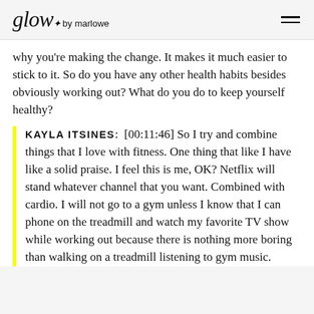glow by marlowe
why you're making the change. It makes it much easier to stick to it. So do you have any other health habits besides obviously working out? What do you do to keep yourself healthy?
KAYLA ITSINES: [00:11:46] So I try and combine things that I love with fitness. One thing that like I have like a solid praise. I feel this is me, OK? Netflix will stand whatever channel that you want. Combined with cardio. I will not go to a gym unless I know that I can phone on the treadmill and watch my favorite TV show while working out because there is nothing more boring than walking on a treadmill listening to gym music.